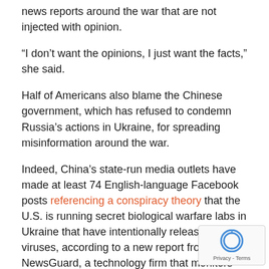news reports around the war that are not injected with opinion.
“I don’t want the opinions, I just want the facts,” she said.
Half of Americans also blame the Chinese government, which has refused to condemn Russia’s actions in Ukraine, for spreading misinformation around the war.
Indeed, China’s state-run media outlets have made at least 74 English-language Facebook posts referencing a conspiracy theory that the U.S. is running secret biological warfare labs in Ukraine that have intentionally released deadly viruses, according to a new report from NewsGuard, a technology firm that monitors misinformation. (The U.S. runs biolabs in Ukraine; it’s not secret and they’re not crafting bioweapons there.)